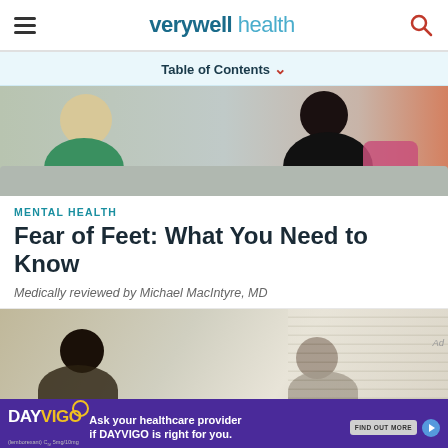verywell health
Table of Contents
[Figure (photo): Two people sitting on a couch in conversation, one with blonde hair in green top, another in black turtleneck holding a pink pillow]
MENTAL HEALTH
Fear of Feet: What You Need to Know
Medically reviewed by Michael MacIntyre, MD
[Figure (photo): Two people seated facing each other in a therapy or consultation setting, with window blinds in background]
[Figure (other): DAYVIGO advertisement: Ask your healthcare provider if DAYVIGO is right for you. FIND OUT MORE. © 2021 Eisai Inc. All rights reserved. us.eisai.com DAYV-US3609 09/2021]